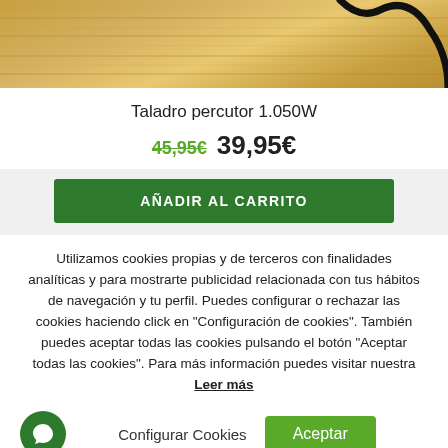[Figure (photo): Product photo: power drill with black cable on wooden background, partially cropped at top]
Taladro percutor 1.050W
45,95€ 39,95€
AÑADIR AL CARRITO
Utilizamos cookies propias y de terceros con finalidades analíticas y para mostrarte publicidad relacionada con tus hábitos de navegación y tu perfil. Puedes configurar o rechazar las cookies haciendo click en "Configuración de cookies". También puedes aceptar todas las cookies pulsando el botón "Aceptar todas las cookies". Para más información puedes visitar nuestra Leer más
Configurar Cookies
Aceptar